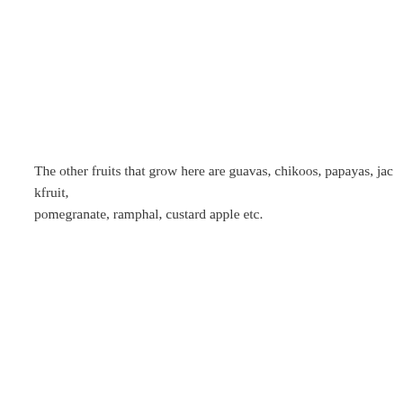The other fruits that grow here are guavas, chikoos, papayas, jackfruit, pomegranate, ramphal, custard apple etc.